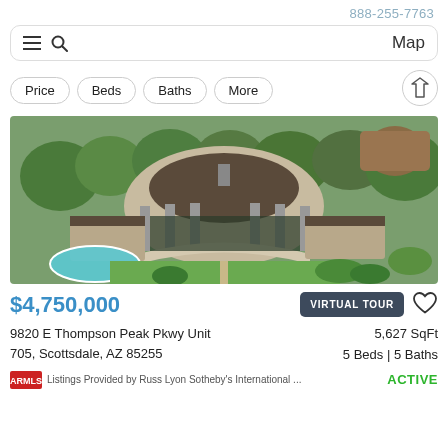888-255-7763
[Figure (screenshot): Search bar with hamburger menu, search icon, and Map button]
Price  Beds  Baths  More
[Figure (photo): Aerial view of a large luxury home with circular architecture, pool, surrounded by desert landscaping and green trees in Scottsdale, AZ]
$4,750,000
VIRTUAL TOUR
9820 E Thompson Peak Pkwy Unit 705, Scottsdale, AZ 85255
5,627 SqFt
5 Beds | 5 Baths
Listings Provided by Russ Lyon Sotheby's International ...
ACTIVE